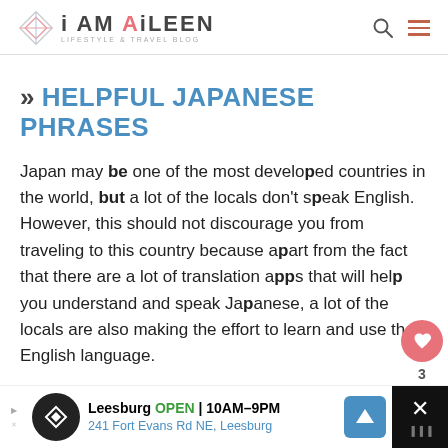i AM AiLEEN LIFESTYLE & TRAVEL BLOG
» HELPFUL JAPANESE PHRASES
Japan may be one of the most developed countries in the world, but a lot of the locals don't speak English. However, this should not discourage you from traveling to this country because apart from the fact that there are a lot of translation apps that will help you understand and speak Japanese, a lot of the locals are also making the effort to learn and use the English language.
[Figure (other): Advertisement bar: Leesburg OPEN 10AM-9PM, 241 Fort Evans Rd NE, Leesburg]